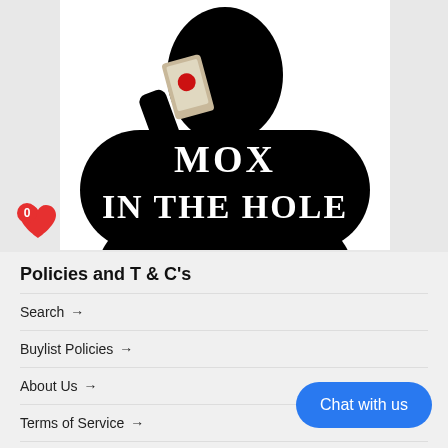[Figure (illustration): Black silhouette of a person holding a playing card (with a red circle). Text reads MOX IN THE HOLE in white serif font on the black silhouette background.]
Policies and T & C's
Search →
Buylist Policies →
About Us →
Terms of Service →
Refund policy →
Chat with us